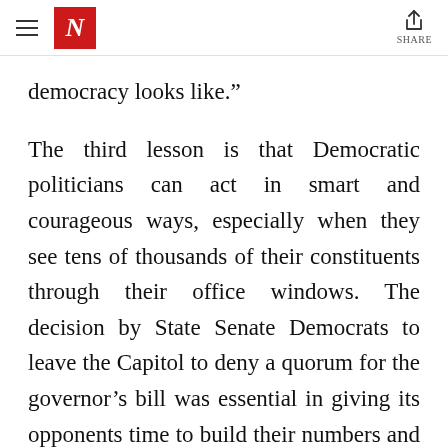N | SHARE
democracy looks like.”
The third lesson is that Democratic politicians can act in smart and courageous ways, especially when they see tens of thousands of their constituents through their office windows. The decision by State Senate Democrats to leave the Capitol to deny a quorum for the governor’s bill was essential in giving its opponents time to build their numbers and rally communities. The marathon resistance by State Assembly Democrats, who forced a sixty-plus-hour